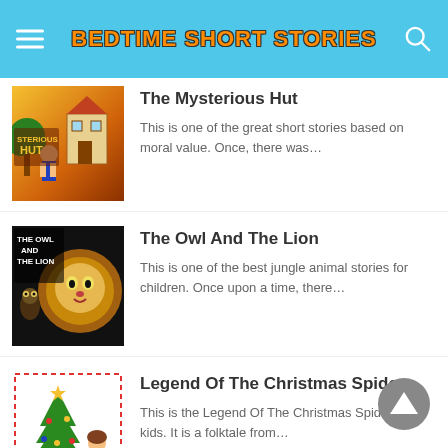Bedtime Short Stories
The Mysterious Hut
This is one of the great short stories based on moral value. Once, there was…
The Owl And The Lion
This is one of the best jungle animal stories for children. Once upon a time, there…
Legend Of The Christmas Spider
This is the Legend Of The Christmas Spider for kids. It is a folktale from…